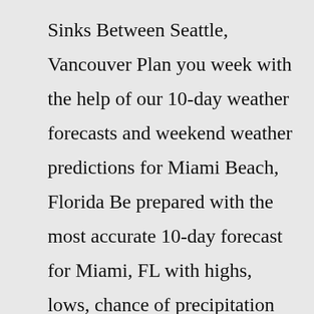Sinks Between Seattle, Vancouver Plan you week with the help of our 10-day weather forecasts and weekend weather predictions for Miami Beach, Florida Be prepared with the most accurate 10-day forecast for Miami, FL with highs, lows, chance of precipitation from The Weather Channel and Weather.com The climate of Miami in january is perfect. The climate in january in Miami is relatively dry (with 1.8in of